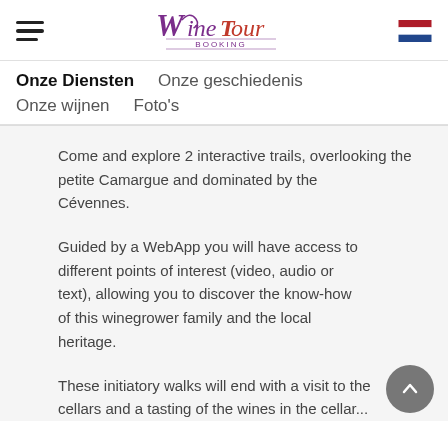WineTour Booking — navigation header with hamburger menu and Dutch flag
Onze Diensten
Onze geschiedenis
Onze wijnen
Foto's
Come and explore 2 interactive trails, overlooking the petite Camargue and dominated by the Cévennes.
Guided by a WebApp you will have access to different points of interest (video, audio or text), allowing you to discover the know-how of this winegrower family and the local heritage.
These initiatory walks will end with a visit to the cellars and a tasting of the wines in the cellar...